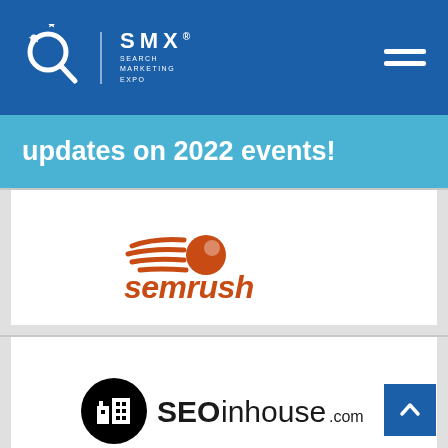SMX Search Marketing Expo
updates on 2022 events!
[Figure (logo): SEMrush logo — orange comet with flame trails above italic orange 'semrush' wordmark]
[Figure (logo): SEOinhouse.com logo — black circle with building icon, followed by 'SEOinhouse.com' text]